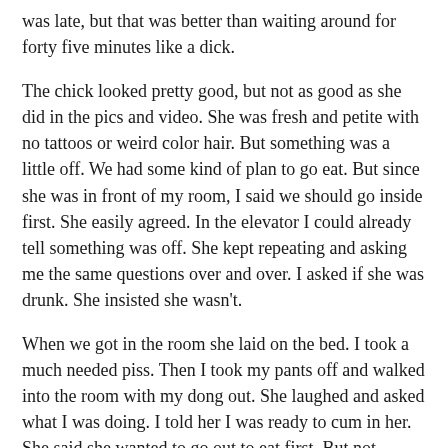was late, but that was better than waiting around for forty five minutes like a dick.
The chick looked pretty good, but not as good as she did in the pics and video. She was fresh and petite with no tattoos or weird color hair. But something was a little off. We had some kind of plan to go eat. But since she was in front of my room, I said we should go inside first. She easily agreed. In the elevator I could already tell something was off. She kept repeating and asking me the same questions over and over. I asked if she was drunk. She insisted she wasn't.
When we got in the room she laid on the bed. I took a much needed piss. Then I took my pants off and walked into the room with my dong out. She laughed and asked what I was doing. I told her I was ready to cum in her. She said she wanted to go out to eat first. But not before promising she'd have sex with me and sleep over after.
I think I was violated